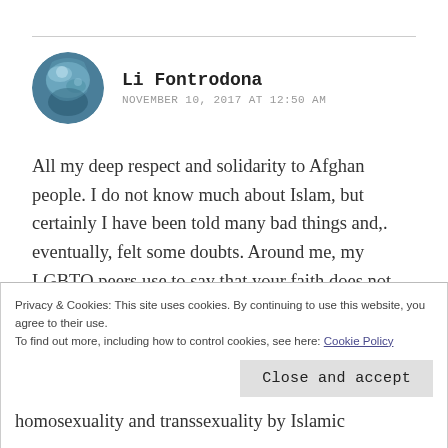[Figure (illustration): Circular avatar photo of Li Fontrodona showing a blue/teal abstract or nature image]
Li Fontrodona
NOVEMBER 10, 2017 AT 12:50 AM
All my deep respect and solidarity to Afghan people. I do not know much about Islam, but certainly I have been told many bad things and,. eventually, felt some doubts. Around me, my LGBTQ peers use to say that your faith does not accept us, and even worse, hates us and wants us terminated. Is this true?... Is there anything in you holy scripts against us? I wish I
Privacy & Cookies: This site uses cookies. By continuing to use this website, you agree to their use.
To find out more, including how to control cookies, see here: Cookie Policy
Close and accept
homosexuality and transsexuality by Islamic